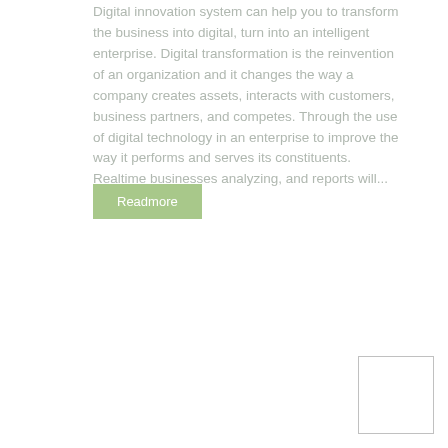Digital innovation system can help you to transform the business into digital, turn into an intelligent enterprise. Digital transformation is the reinvention of an organization and it changes the way a company creates assets, interacts with customers, business partners, and competes. Through the use of digital technology in an enterprise to improve the way it performs and serves its constituents. Realtime businesses analyzing, and reports will...
Readmore
[Figure (other): Small empty white rectangle with a thin gray border in the bottom-right corner of the page]